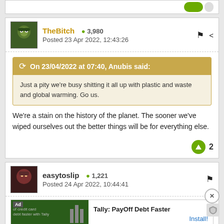[Figure (screenshot): Partial post strip at top with green toggle icon]
TheBitch  3,980
Posted 23 Apr 2022, 12:43:26
On 23/04/2022 at 07:40, Anubis said:
Just a pity we're busy shitting it all up with plastic and waste and global warming. Go us.
We're a stain on the history of the planet. The sooner we've wiped ourselves out the better things will be for everything else.
easytoslip  1,221
Posted 24 Apr 2022, 10:44:41
Tally: PayOff Debt Faster
Install!